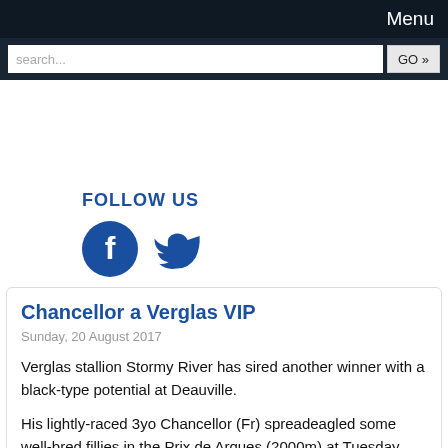Menu
search...   GO »
[Figure (logo): FOLLOW US section with Facebook and Twitter social media icons in dark blue]
Chancellor a Verglas VIP
Sunday, 20 August 2017
Verglas stallion Stormy River has sired another winner with a black-type potential at Deauville.
His lightly-raced 3yo Chancellor (Fr) spreadeagled some well-bred fillies in the Prix de Arques (2000m) at Tuesday, Riddem in their...